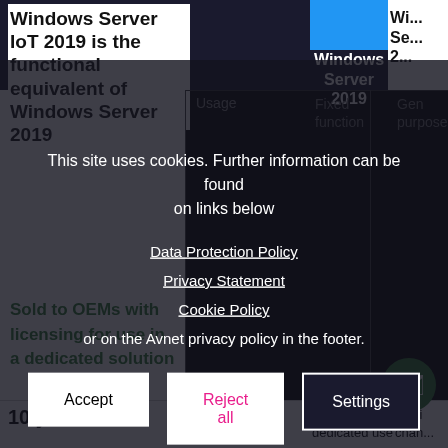Windows Server IoT 2019 is the functional equivalent of Windows Server 2019
Windows Server 2019
Wi...
Usage
Fixed function appliance
Gen purpose server
Sold to OEMs with licensing for use in a dedicated solution
10 years of
Licensing
OEM channel with dedicated use
Multi channel
This site uses cookies. Further information can be found on links below
Data Protection Policy
Privacy Statement
Cookie Policy
or on the Avnet privacy policy in the footer.
Accept
Reject all
Settings